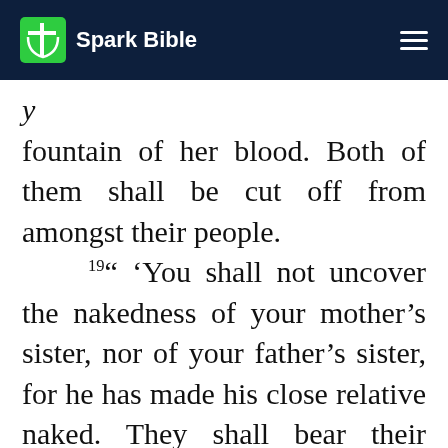Spark Bible
fountain of her blood. Both of them shall be cut off from amongst their people. 19 “ ‘You shall not uncover the nakedness of your mother’s sister, nor of your father’s sister, for he has made his close relative naked. They shall bear their iniquity. 20 If a man lies with his uncle’s wife, he has uncovered his uncle’s nakedness. They shall bear their sin. They shall die childless.